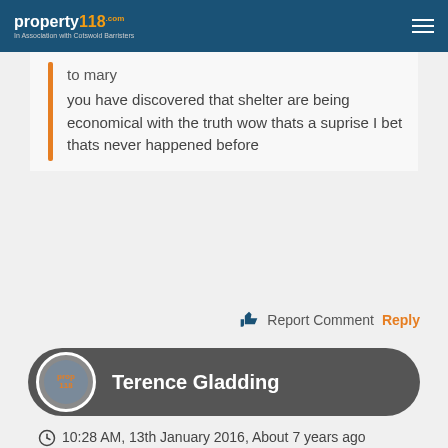property118.com - In Association with Cotswold Barristers
to mary
you have discovered that shelter are being economical with the truth wow thats a suprise I bet thats never happened before
Report Comment  Reply
Terence Gladding
10:28 AM, 13th January 2016, About 7 years ago